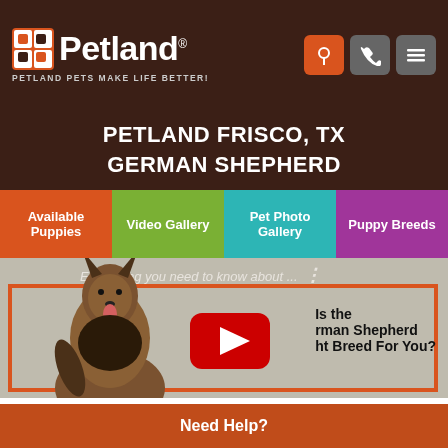Petland — Petland Pets Make Life Better!
PETLAND FRISCO, TX
GERMAN SHEPHERD
Available Puppies
Video Gallery
Pet Photo Gallery
Puppy Breeds
[Figure (screenshot): YouTube video thumbnail showing a German Shepherd dog with a YouTube play button overlay and text 'Is the German Shepherd the Right Breed For You?' with an orange border frame. Text at top reads 'Everything you need to know about...']
Are you interested in purchasing...
Need Help?